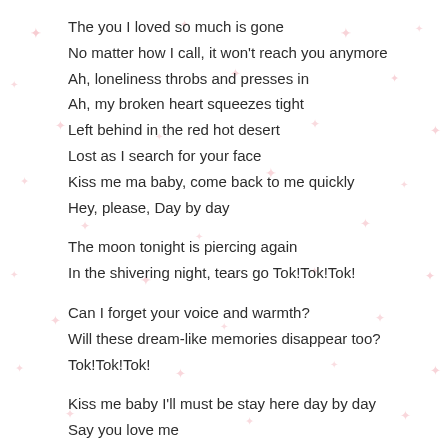The you I loved so much is gone
No matter how I call, it won't reach you anymore
Ah, loneliness throbs and presses in
Ah, my broken heart squeezes tight
Left behind in the red hot desert
Lost as I search for your face
Kiss me ma baby, come back to me quickly
Hey, please, Day by day

The moon tonight is piercing again
In the shivering night, tears go Tok!Tok!Tok!

Can I forget your voice and warmth?
Will these dream-like memories disappear too?
Tok!Tok!Tok!

Kiss me baby I'll must be stay here day by day
Say you love me
Kiss me baby just you can take me day by day